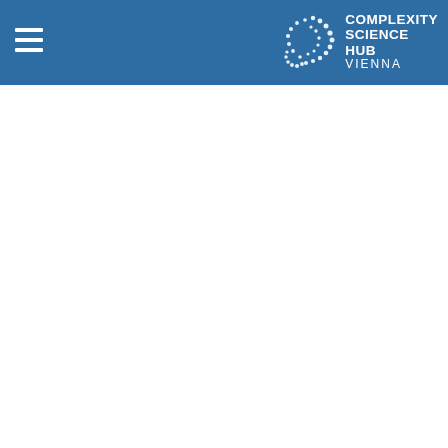Complexity Science Hub Vienna
[Figure (logo): Complexity Science Hub Vienna logo with stylized arc/swirl icon and text COMPLEXITY SCIENCE HUB VIENNA in white on blue background]
[Figure (photo): Partial dark blue photo strip visible at the top of the content area below the header navigation bar]